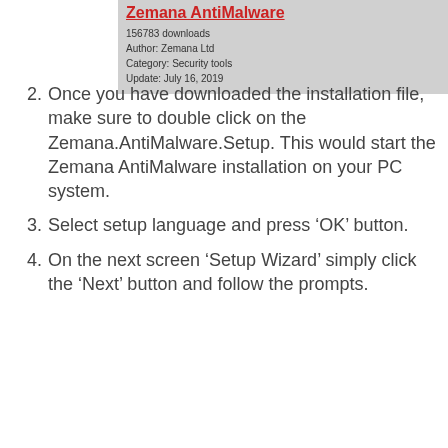[Figure (screenshot): Zemana AntiMalware software info banner showing title, download count, author, category, and update date]
2. Once you have downloaded the installation file, make sure to double click on the Zemana.AntiMalware.Setup. This would start the Zemana AntiMalware installation on your PC system.
3. Select setup language and press ‘OK’ button.
4. On the next screen ‘Setup Wizard’ simply click the ‘Next’ button and follow the prompts.